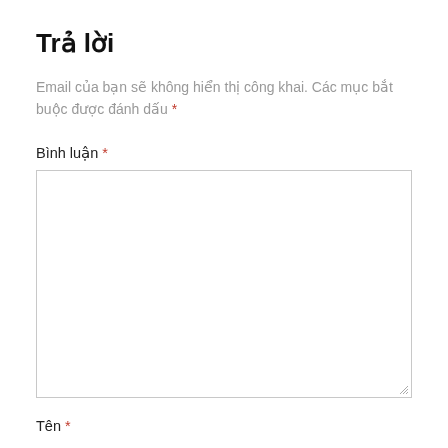Trả lời
Email của bạn sẽ không hiển thị công khai. Các mục bắt buộc được đánh dấu *
Bình luận *
Tên *